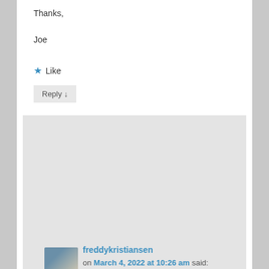Thanks,
Joe
★ Like
Reply ↓
freddykristiansen
on March 4, 2022 at 10:26 am said:
The URL is fine and still works.
You need to be in the Ready! for Dynamics 365 Business Central program and engagement.
Email dyn365bep at microsoft dot com if you do not have access.
★ Like
Reply ↓